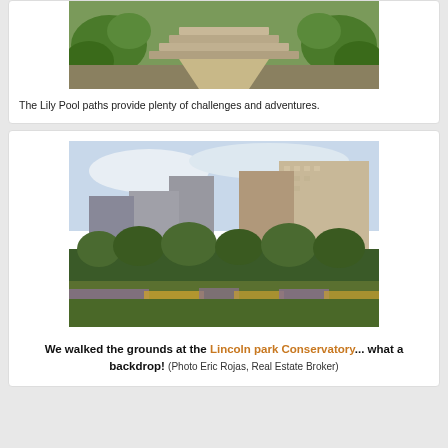[Figure (photo): Stone steps and paths with lush greenery at the Lily Pool]
The Lily Pool paths provide plenty of challenges and adventures.
[Figure (photo): City skyline with tall apartment buildings behind Lincoln Park Conservatory grounds with trees and flowers in foreground]
We walked the grounds at the Lincoln park Conservatory... what a backdrop! (Photo Eric Rojas, Real Estate Broker)